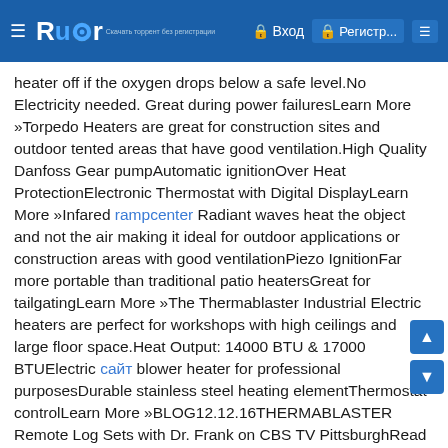Rutor — Вход Регистр...
heater off if the oxygen drops below a safe level.No Electricity needed. Great during power failuresLearn More »Torpedo Heaters are great for construction sites and outdoor tented areas that have good ventilation.High Quality Danfoss Gear pumpAutomatic ignitionOver Heat ProtectionElectronic Thermostat with Digital DisplayLearn More »Infared rampcenter Radiant waves heat the object and not the air making it ideal for outdoor applications or construction areas with good ventilationPiezo IgnitionFar more portable than traditional patio heatersGreat for tailgatingLearn More »The Thermablaster Industrial Electric heaters are perfect for workshops with high ceilings and large floor space.Heat Output: 14000 BTU & 17000 BTUElectric сайт blower heater for professional purposesDurable stainless steel heating elementThermostat controlLearn More »BLOG12.12.16THERMABLASTER Remote Log Sets with Dr. Frank on CBS TV PittsburghRead More04.28.16Thermablaster by Reecon will be attending the National Hardware Show in Las Vegas on May 4th through May 6th!Thermablaster by Reecon will be attending the National...